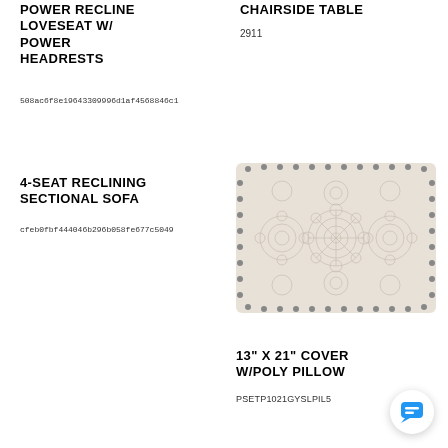POWER RECLINE LOVESEAT W/ POWER HEADRESTS
508ac6f8e19643309996d1af4568846c1
CHAIRSIDE TABLE
2911
4-SEAT RECLINING SECTIONAL SOFA
cfeb0fbf444046b296b058fe677c5049
[Figure (photo): A rectangular decorative pillow with a geometric/mandala pattern in beige/tan tones with small pom-pom trim around the edges.]
13" X 21" COVER W/POLY PILLOW
PSETP1021GYSLPIL5